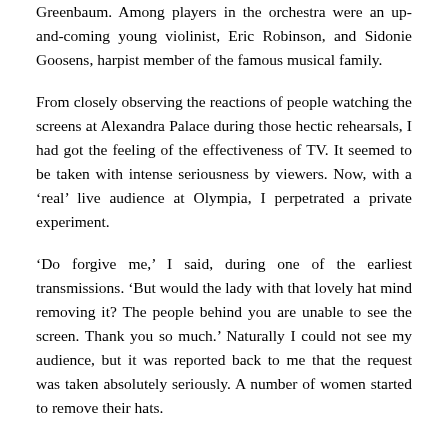Greenbaum. Among players in the orchestra were an up-and-coming young violinist, Eric Robinson, and Sidonie Goosens, harpist member of the famous musical family.
From closely observing the reactions of people watching the screens at Alexandra Palace during those hectic rehearsals, I had got the feeling of the effectiveness of TV. It seemed to be taken with intense seriousness by viewers. Now, with a ‘real’ live audience at Olympia, I perpetrated a private experiment.
‘Do forgive me,’ I said, during one of the earliest transmissions. ‘But would the lady with that lovely hat mind removing it? The people behind you are unable to see the screen. Thank you so much.’ Naturally I could not see my audience, but it was reported back to me that the request was taken absolutely seriously. A number of women started to remove their hats.